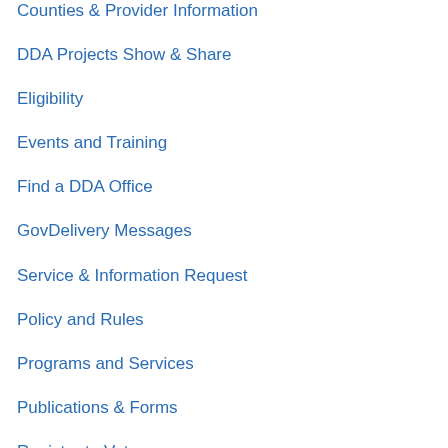Counties & Provider Information
DDA Projects Show & Share
Eligibility
Events and Training
Find a DDA Office
GovDelivery Messages
Service & Information Request
Policy and Rules
Programs and Services
Publications & Forms
Register to Vote
Resource Links